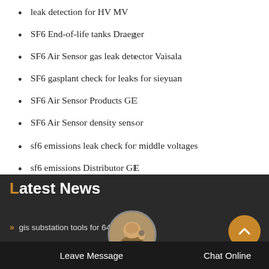leak detection for HV MV
SF6 End-of-life tanks Draeger
SF6 Air Sensor gas leak detector Vaisala
SF6 gasplant check for leaks for sieyuan
SF6 Air Sensor Products GE
SF6 Air Sensor density sensor
sf6 emissions leak check for middle voltages
sf6 emissions Distributor GE
Latest News
gis substation tools for 64kv
Charging for high voltages
Leave Message
Chat Online